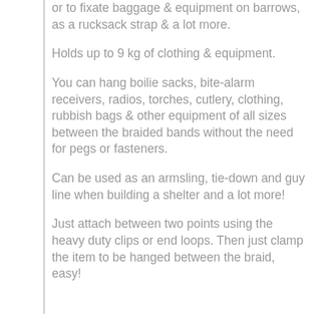or to fixate baggage & equipment on barrows, as a rucksack strap & a lot more.
Holds up to 9 kg of clothing & equipment.
You can hang boilie sacks, bite-alarm receivers, radios, torches, cutlery, clothing, rubbish bags & other equipment of all sizes between the braided bands without the need for pegs or fasteners.
Can be used as an armsling, tie-down and guy line when building a shelter and a lot more!
Just attach between two points using the heavy duty clips or end loops. Then just clamp the item to be hanged between the braid, easy!